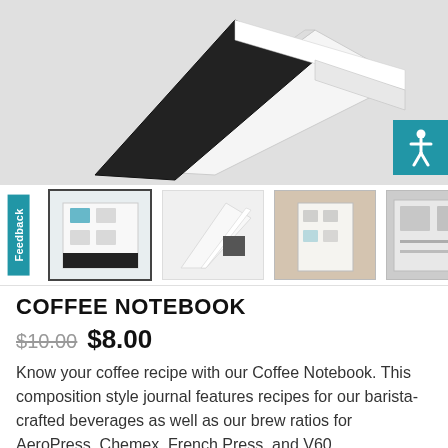[Figure (photo): Main product photo of Coffee Notebook - composition style journal shown from above at an angle against light gray background, showing black and white covers]
[Figure (photo): Four thumbnail images of the Coffee Notebook product from different angles]
COFFEE NOTEBOOK
$10.00  $8.00
Know your coffee recipe with our Coffee Notebook. This composition style journal features recipes for our barista-crafted beverages as well as our brew ratios for AeroPress, Chemex, French Press, and V60.